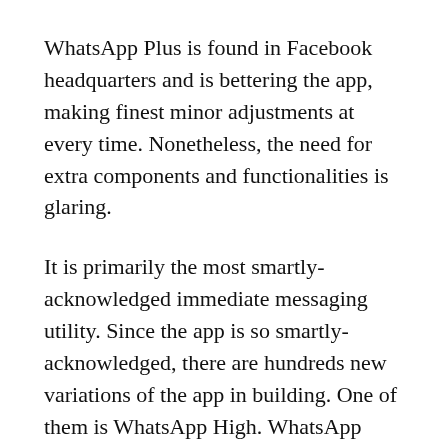WhatsApp Plus is found in Facebook headquarters and is bettering the app, making finest minor adjustments at every time. Nonetheless, the need for extra components and functionalities is glaring.
It is primarily the most smartly-acknowledged immediate messaging utility. Since the app is so smartly-acknowledged, there are hundreds new variations of the app in building. One of them is WhatsApp High. WhatsApp High utility.